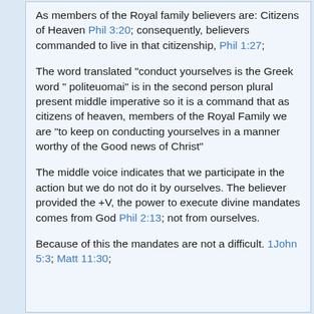As members of the Royal family believers are: Citizens of Heaven Phil 3:20; consequently, believers commanded to live in that citizenship, Phil 1:27;
The word translated "conduct yourselves is the Greek word " politeuomai" is in the second person plural present middle imperative so it is a command that as citizens of heaven, members of the Royal Family we are "to keep on conducting yourselves in a manner worthy of the Good news of Christ"
The middle voice indicates that we participate in the action but we do not do it by ourselves. The believer provided the +V, the power to execute divine mandates comes from God Phil 2:13; not from ourselves.
Because of this the mandates are not a difficult. 1John 5:3; Matt 11:30;